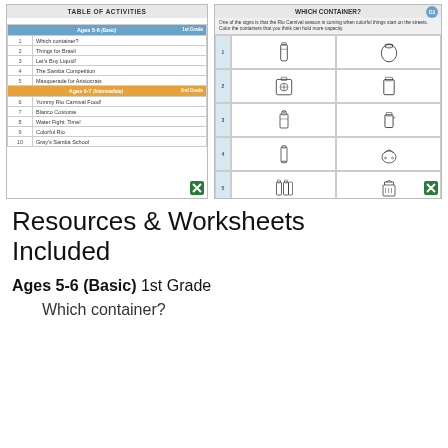[Figure (screenshot): Left panel showing Table of Activities with activity listings for Ages 5-6 and Ages 6-7]
[Figure (screenshot): Right panel showing Which Container worksheet with container images in a grid]
Resources & Worksheets Included
Ages 5-6 (Basic) 1st Grade
Which container?